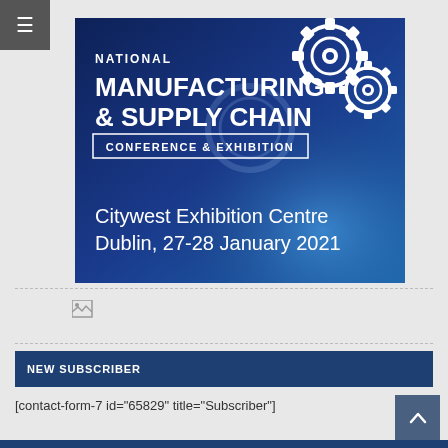[Figure (illustration): National Manufacturing & Supply Chain Conference & Exhibition banner. Dark blue background with gear icons. Text: NATIONAL MANUFACTURING & SUPPLY CHAIN CONFERENCE & EXHIBITION. Citywest Exhibition Centre Dublin, 27-28 January 2021.]
[Figure (other): Broken/missing image icon (small, top-left corner style)]
NEW SUBSCRIBER
[contact-form-7 id="65829" title="Subscriber"]